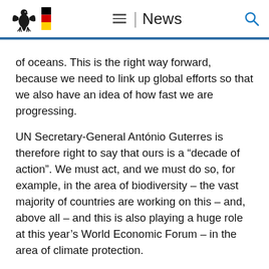News
of oceans. This is the right way forward, because we need to link up global efforts so that we also have an idea of how fast we are progressing.
UN Secretary-General António Guterres is therefore right to say that ours is a “decade of action”. We must act, and we must do so, for example, in the area of biodiversity – the vast majority of countries are working on this – and, above all – and this is also playing a huge role at this year’s World Economic Forum – in the area of climate protection.
The issue of achieving the goals of the Paris Climate Agreement could be about no less than the survival